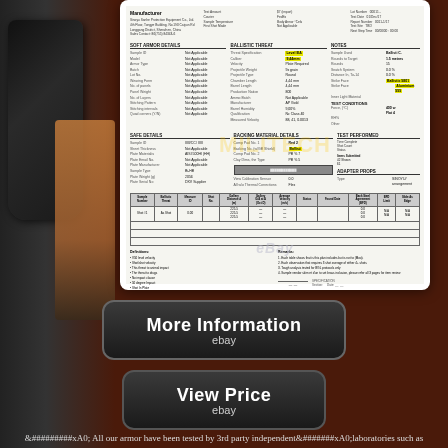[Figure (photo): Dark brown background page showing ballistic armor plate and person wearing body armor vest on the left side, with a ballistic test certificate/report document in the upper center area, two eBay-style buttons (More Information and View Price), and descriptive text at the bottom.]
&#xA0; All our armor have been tested by 3rd party independent&#xA0;laboratories such as OBL, USA & BMT, Australia according to US NIJ standards. MILITECH NIJ III++++ Level